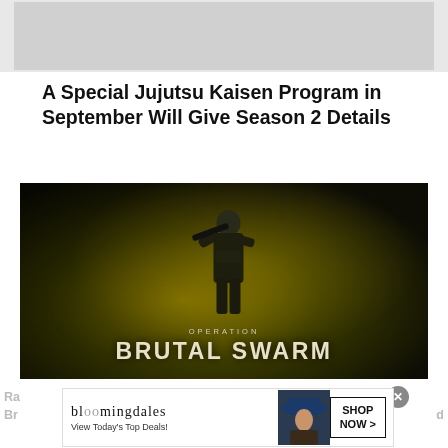[Figure (photo): Partial top image, light gray placeholder area at top of page]
A Special Jujutsu Kaisen Program in September Will Give Season 2 Details
[Figure (photo): Game promotional image for 'Operation Brutal Swarm' showing a soldier in tactical gear holding a weapon in a dark swampy environment with yellowish sky. Text at bottom reads 'OPERATION BRUTAL SWARM'.]
[Figure (photo): Bloomingdale's advertisement banner: 'bloomingdales View Today's Top Deals!' with a woman in a blue hat and a 'SHOP NOW >' button. Background text partially visible: 'Ra... Br... d']